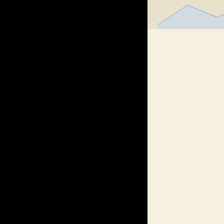[Figure (illustration): Partial view of a magazine or newspaper layout/cover image at the top]
Critics' Corner
Island Riff...
Off The... Inc...
Ali... Mo... Hiv...
The Prep Room
Fin... Wa... the... The... Vic... Pa...
Columns
Co... of a... Re... #52...
Less Dangerous
The... Sw... Fuz...